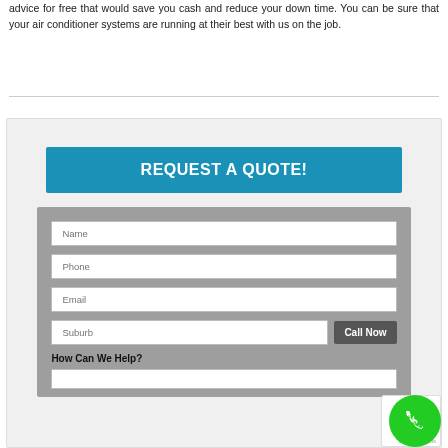advice for free that would save you cash and reduce your down time. You can be sure that your air conditioner systems are running at their best with us on the job.
[Figure (screenshot): A web form section with a blue 'REQUEST A QUOTE!' banner button, followed by a grey form area containing input fields for Name, Phone, Email, Suburb (with a 'Call Now' button), and a 'How Can We Help?' label with a text area. A green phone icon circle and reCAPTCHA badge appear in the bottom-right corner.]